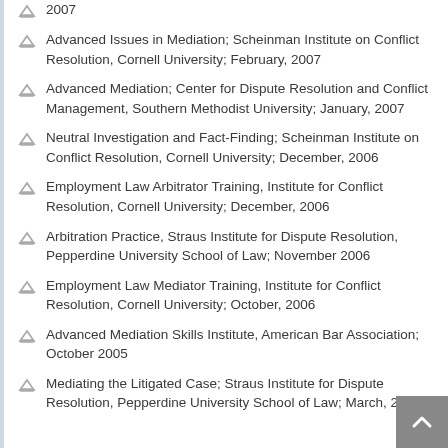2007
Advanced Issues in Mediation; Scheinman Institute on Conflict Resolution, Cornell University; February, 2007
Advanced Mediation; Center for Dispute Resolution and Conflict Management, Southern Methodist University; January, 2007
Neutral Investigation and Fact-Finding; Scheinman Institute on Conflict Resolution, Cornell University; December, 2006
Employment Law Arbitrator Training, Institute for Conflict Resolution, Cornell University; December, 2006
Arbitration Practice, Straus Institute for Dispute Resolution, Pepperdine University School of Law; November 2006
Employment Law Mediator Training, Institute for Conflict Resolution, Cornell University; October, 2006
Advanced Mediation Skills Institute, American Bar Association; October 2005
Mediating the Litigated Case; Straus Institute for Dispute Resolution, Pepperdine University School of Law; March, 2005